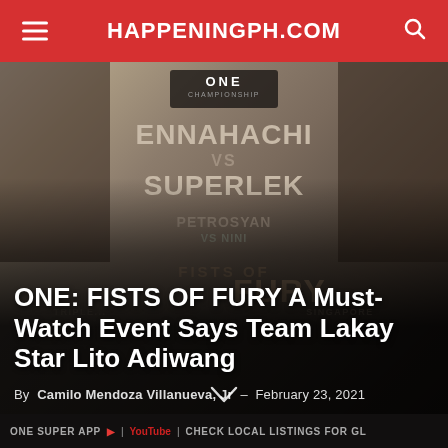HAPPENINGPH.COM
[Figure (photo): ONE Championship event poster for ONE: Fists of Fury featuring fighters Ennahachi vs Superlek and Petrosyan vs Ninikas, with face close-ups of four fighters on a dark sepia-toned background, with 'FISTS OF FURY' text and ONE Championship logo]
ONE: FISTS OF FURY A Must-Watch Event Says Team Lakay Star Lito Adiwang
By Camilo Mendoza Villanueva, Jr – February 23, 2021
ONE SUPER APP YouTube CHECK LOCAL LISTINGS FOR GL...